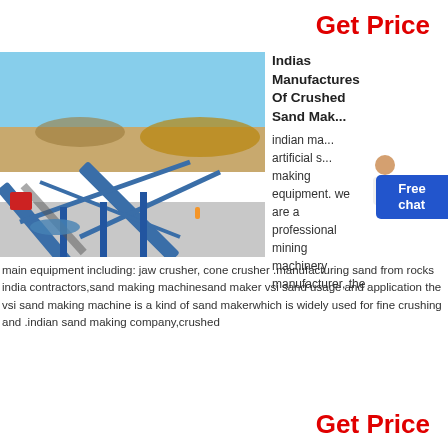Get Price
[Figure (photo): Aerial view of a mining conveyor belt system at a sand/stone crushing facility in India, with blue steel conveyor structures against an open-pit mining background and clear sky.]
Indias Manufactures Of Crushed Sand Making
indian ma... artificial s... making equipment. we are a professional mining machinery manufacturer, the
main equipment including: jaw crusher, cone crusher .manufacturing sand from rocks india contractors,sand making machinesand maker vsi sand usage and application the vsi sand making machine is a kind of sand makerwhich is widely used for fine crushing and .indian sand making company,crushed
Get Price